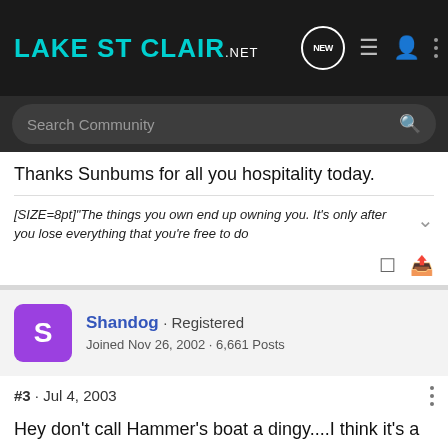LakeStClair.net
Thanks Sunbums for all you hospitality today.
[SIZE=8pt]"The things you own end up owning you. It&#39;s only after you lose everything that you&#39;re free to do
Shandog · Registered
Joined Nov 26, 2002 · 6,661 Posts
#3 · Jul 4, 2003
Hey don't call Hammer's boat a dingy....I think it's a little nicer than that! <_<